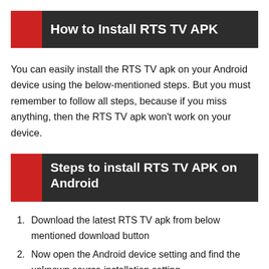How to Install RTS TV APK
You can easily install the RTS TV apk on your Android device using the below-mentioned steps. But you must remember to follow all steps, because if you miss anything, then the RTS TV apk won't work on your device.
Steps to install RTS TV APK on Android
Download the latest RTS TV apk from below mentioned download button
Now open the Android device setting and find the unknown source installation setting